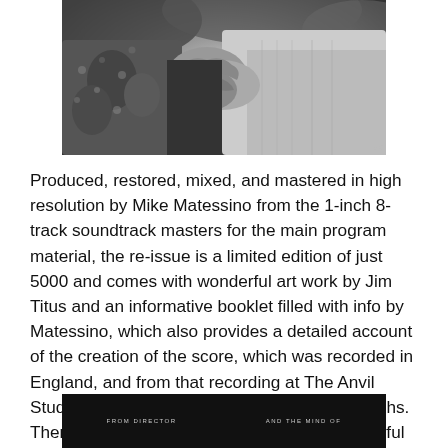[Figure (photo): Black and white photograph showing people holding hands or arms, close-up view of torsos and arms in an outdoor setting]
Produced, restored, mixed, and mastered in high resolution by Mike Matessino from the 1-inch 8-track soundtrack masters for the main program material, the re-issue is a limited edition of just 5000 and comes with wonderful art work by Jim Titus and an informative booklet filled with info by Matessino, which also provides a detailed account of the creation of the score, which was recorded in England, and from that recording at The Anvil Studios there are never before seen photographs. Then there is a second booklet, that is a colourful program guide. Highly recommended.
[Figure (photo): Black background image with text reading FROM DIRECTOR and AND THE MIND OF in small caps lettering]